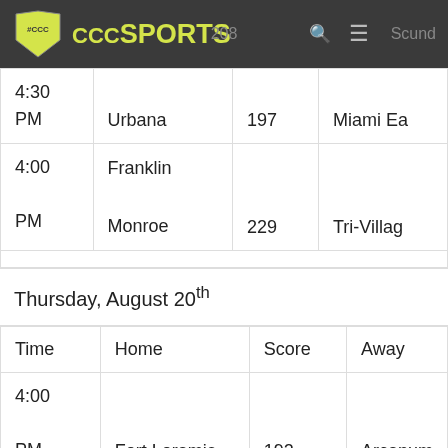CCC CCCSPORTS
| Time | Home | Score | Away |
| --- | --- | --- | --- |
| 4:30 PM | Urbana | 197 | Miami Ea… |
| 4:00 PM | Franklin Monroe | 229 | Tri-Villag… |
Thursday, August 20th
| Time | Home | Score | Away |
| --- | --- | --- | --- |
| 4:00 PM | Fort Loramie | 192 | Arcanum |
| 4:00 PM | Franklin Monroe | 228 | …gtc |